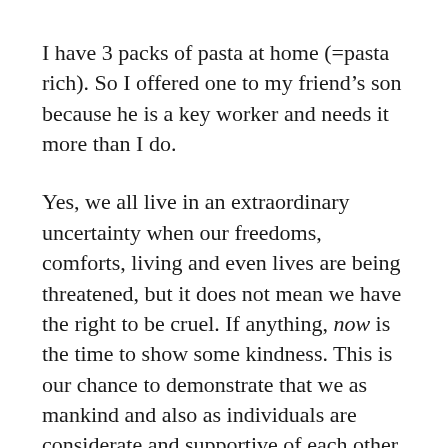I have 3 packs of pasta at home (=pasta rich). So I offered one to my friend’s son because he is a key worker and needs it more than I do.
Yes, we all live in an extraordinary uncertainty when our freedoms, comforts, living and even lives are being threatened, but it does not mean we have the right to be cruel. If anything, now is the time to show some kindness. This is our chance to demonstrate that we as mankind and also as individuals are considerate and supportive of each other. If you don’t take this opportunity to do something nice for the ones who need it now, the fiver you’ll donate to charity next year will mean f all. So stop